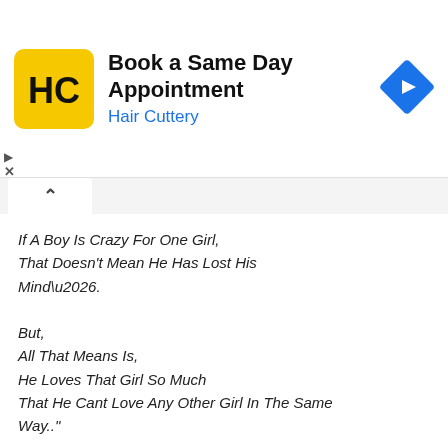[Figure (infographic): Hair Cuttery advertisement banner with yellow logo, 'Book a Same Day Appointment' heading, and blue navigation icon]
If A Boy Is Crazy For One Girl,
That Doesn't Mean He Has Lost His Mind\u2026.

But,
All That Means Is,
He Loves That Girl So Much
That He Cant Love Any Other Girl In The Same Way.."
"It's useless to show how much u damn “CARE” for someone,
when that person is ‘Too Busy’
getting someone else’s “ATTENTION” .!!!:"